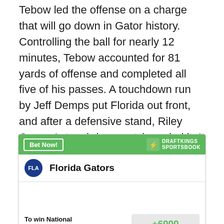Tebow led the offense on a charge that will go down in Gator history. Controlling the ball for nearly 12 minutes, Tebow accounted for 81 yards of offense and completed all five of his passes. A touchdown run by Jeff Demps put Florida out front, and after a defensive stand, Riley Cooper's touchdown catch sealed it. It was the first time in Tebow's college career he had rallied from a 4th quarter deficit.
[Figure (other): DraftKings Sportsbook widget showing Florida Gators with a bet: To win National Championship at +6000 odds.]